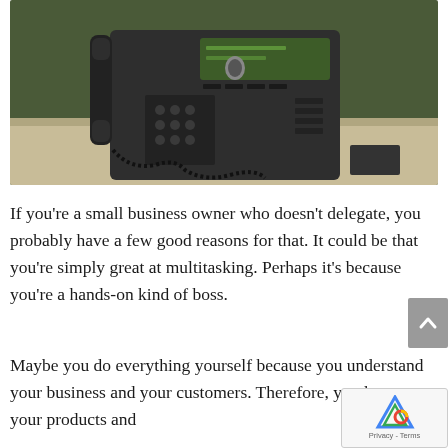[Figure (photo): A black Cisco desk telephone sitting on a beige/tan surface against a dark green wall background. The phone has a handset, coiled cord, keypad, and display screen.]
If you're a small business owner who doesn't delegate, you probably have a few good reasons for that. It could be that you're simply great at multitasking. Perhaps it's because you're a hands-on kind of boss.
Maybe you do everything yourself because you understand your business and your customers. Therefore, you know your products and